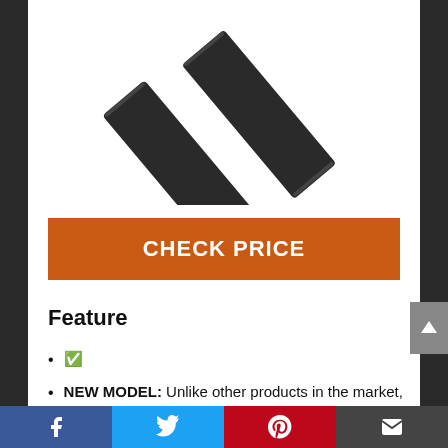[Figure (photo): Two elongated black flat strips/panels (door threshold or cable cover product) photographed diagonally on white background]
CHECK PRICE
Feature
&#9989;
NEW MODEL: Unlike other products in the market, the Cannaris.
Facebook  Twitter  Pinterest  Mail